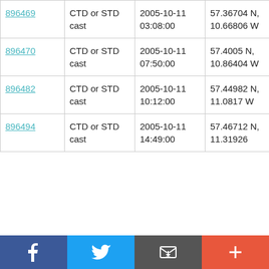| 896469 | CTD or STD cast | 2005-10-11 03:08:00 | 57.36704 N, 10.66806 W | RRS Charles Darwin CD176 |
| 896470 | CTD or STD cast | 2005-10-11 07:50:00 | 57.4005 N, 10.86404 W | RRS Charles Darwin CD176 |
| 896482 | CTD or STD cast | 2005-10-11 10:12:00 | 57.44982 N, 11.0817 W | RRS Charles Darwin CD176 |
| 896494 | CTD or STD cast | 2005-10-11 14:49:00 | 57.46712 N, 11.31926 | RRS Charles Darwin CD176 |
Social share bar: Facebook, Twitter, Email, Add